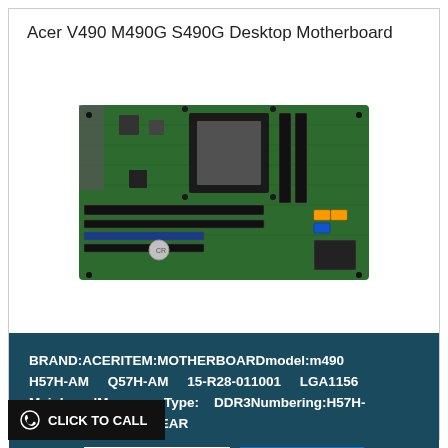Acer V490 M490G S490G Desktop Motherboard
[Figure (photo): Photo of a green desktop motherboard (Acer H57H-AM) with CPU socket, RAM slots, expansion slots, and various connectors visible.]
BRAND:ACERITEM:MOTHERBOARDmodel:m490 H57H-AM Q57H-AM 15-R28-011001 LGA1156 MainboardMemory Type: DDR3Numbering:H57H-AMWARRANTY : 1 YEAR
View More
Message
CLICK TO CALL